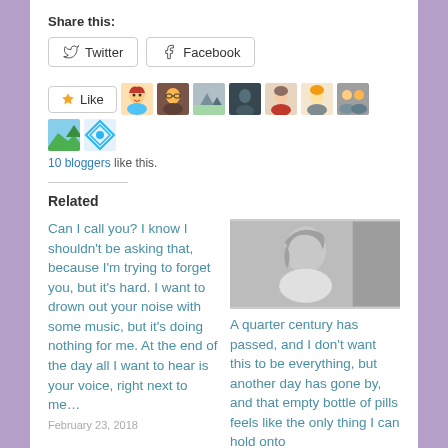Share this:
Twitter  Facebook
[Figure (other): Like button with 10 blogger avatars shown beside it]
10 bloggers like this.
Related
Can I call you? I know I shouldn't be asking that, because I'm trying to forget you, but it's hard. I want to drown out your noise with some music, but it's doing nothing for me. At the end of the day all I want to hear is your voice, right next to me…
February 23, 2018
[Figure (photo): Black and white photo of a person with short hair looking down]
A quarter century has passed, and I don't want this to be everything, but another day has gone by, and that empty bottle of pills feels like the only thing I can hold onto